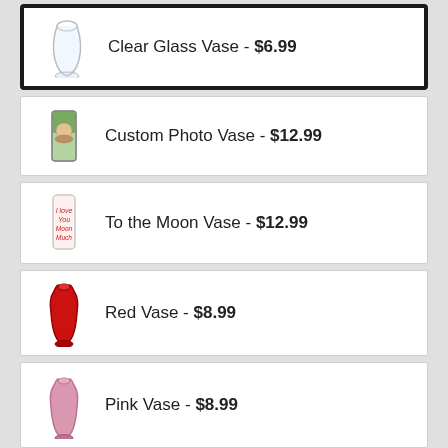Clear Glass Vase - $6.99
Custom Photo Vase - $12.99
To the Moon Vase - $12.99
Red Vase - $8.99
Pink Vase - $8.99
No Vase